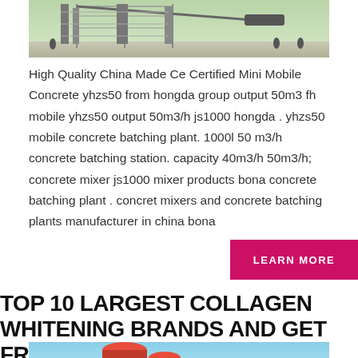[Figure (photo): Outdoor photo of a mobile concrete batching plant structure with metal framework, conveyor belt, and workers visible in background on a flat surface.]
High Quality China Made Ce Certified Mini Mobile Concrete yhzs50 from hongda group output 50m3 fh mobile yhzs50 output 50m3/h js1000 hongda . yhzs50 mobile concrete batching plant. 1000l 50 m3/h concrete batching station. capacity 40m3/h 50m3/h; concrete mixer js1000 mixer products bona concrete batching plant . concret mixers and concrete batching plants manufacturer in china bona
LEARN MORE
TOP 10 LARGEST COLLAGEN WHITENING BRANDS AND GET FREE
[Figure (photo): Bottom portion of an image showing industrial equipment or products against a light blue background.]